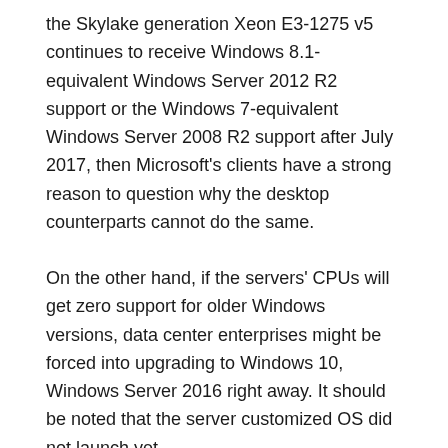the Skylake generation Xeon E3-1275 v5 continues to receive Windows 8.1-equivalent Windows Server 2012 R2 support or the Windows 7-equivalent Windows Server 2008 R2 support after July 2017, then Microsoft's clients have a strong reason to question why the desktop counterparts cannot do the same.
On the other hand, if the servers' CPUs will get zero support for older Windows versions, data center enterprises might be forced into upgrading to Windows 10, Windows Server 2016 right away. It should be noted that the server customized OS did not launch yet.
Whether the announcement is a smart move on